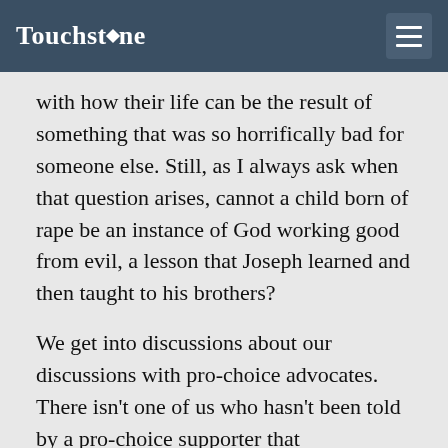Touchstone
with how their life can be the result of something that was so horrifically bad for someone else. Still, as I always ask when that question arises, cannot a child born of rape be an instance of God working good from evil, a lesson that Joseph learned and then taught to his brothers?
We get into discussions about our discussions with pro-choice advocates. There isn't one of us who hasn't been told by a pro-choice supporter that